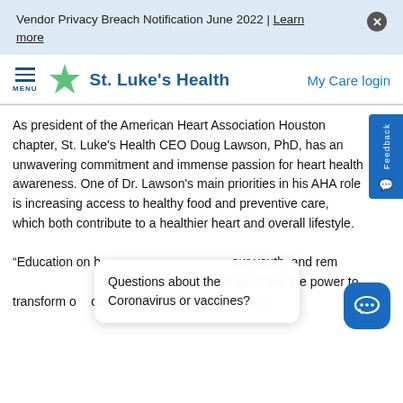Vendor Privacy Breach Notification June 2022 | Learn more
[Figure (logo): St. Luke's Health logo with green cross/star and blue text, hamburger menu icon, My Care login link]
As president of the American Heart Association Houston chapter, St. Luke's Health CEO Doug Lawson, PhD, has an unwavering commitment and immense passion for heart health awareness. One of Dr. Lawson's main priorities in his AHA role is increasing access to healthy food and preventive care, which both contribute to a healthier heart and overall lifestyle.
"Education on h[ealthy living empowers ]our youth, and rem[oving barriers that make h]ealthy living a challenge, have the power to transform o[ur] community," said Doug Lawson.
Questions about the Coronavirus or vaccines?